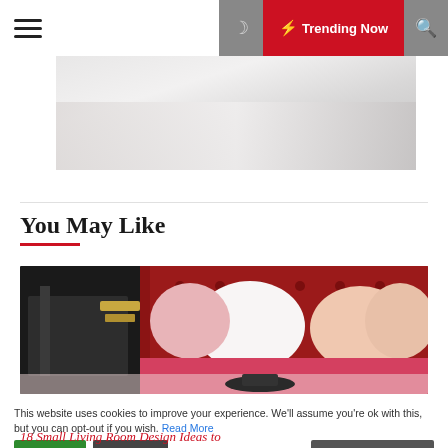☰ 🌙 ⚡ Trending Now 🔍
[Figure (photo): A bright, minimalist bedroom interior with white pillows and a light-toned sofa, with sheer curtains in the background.]
You May Like
[Figure (photo): A velvet red tufted sofa headboard/banquette with pink and white throw pillows, and a small round coffee table in front.]
This website uses cookies to improve your experience. We'll assume you're ok with this, but you can opt-out if you wish. Read More
Accept   Decline   Cookie Settings
18 Small Living Room Design Ideas to